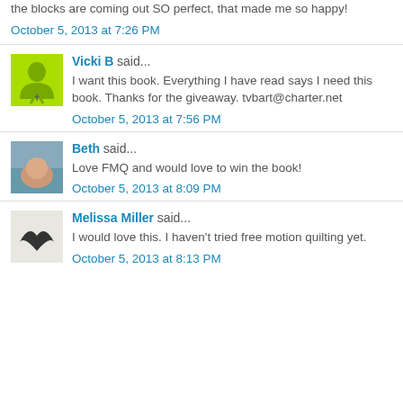the blocks are coming out SO perfect, that made me so happy!
October 5, 2013 at 7:26 PM
Vicki B said...
I want this book. Everything I have read says I need this book. Thanks for the giveaway. tvbart@charter.net
October 5, 2013 at 7:56 PM
Beth said...
Love FMQ and would love to win the book!
October 5, 2013 at 8:09 PM
Melissa Miller said...
I would love this. I haven't tried free motion quilting yet.
October 5, 2013 at 8:13 PM